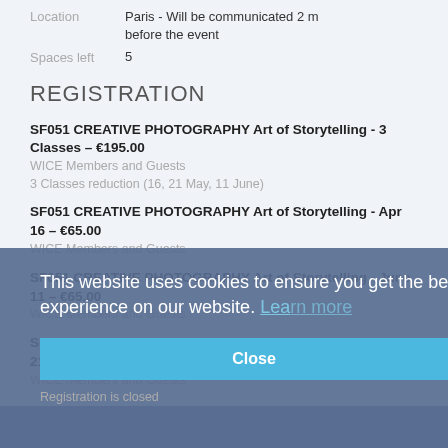Location   Paris - Will be communicated 2 m before the event
Spaces left   5
REGISTRATION
SF051 CREATIVE PHOTOGRAPHY Art of Storytelling - 3 Classes – €195.00
WICE Members and Guests
3 Classes reduction (16, 21 May, 11 June)
SF051 CREATIVE PHOTOGRAPHY Art of Storytelling - Apr 16 – €65.00
WICE Members and Guests
SF051 CREATIVE PHOTOGRAPHY Art of Storytelling - June 11 – €65.00
WICE Members and Guests
SF051 CREATIVE PHOTOGRAPHY Art of Storytelling - May 21 – €65.00
WICE Members and Guests
This website uses cookies to ensure you get the best experience on our website. Learn more
Close
Registration is closed